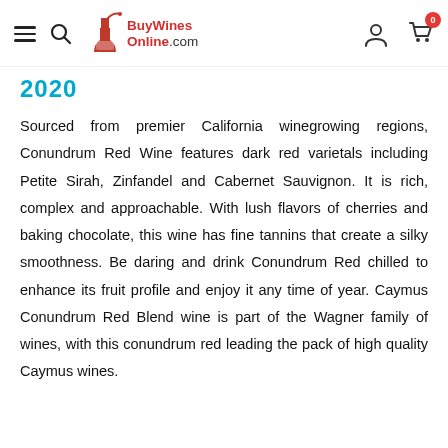BuyWinesOnline.com
2020
Sourced from premier California winegrowing regions, Conundrum Red Wine features dark red varietals including Petite Sirah, Zinfandel and Cabernet Sauvignon. It is rich, complex and approachable. With lush flavors of cherries and baking chocolate, this wine has fine tannins that create a silky smoothness. Be daring and drink Conundrum Red chilled to enhance its fruit profile and enjoy it any time of year. Caymus Conundrum Red Blend wine is part of the Wagner family of wines, with this conundrum red leading the pack of high quality Caymus wines.